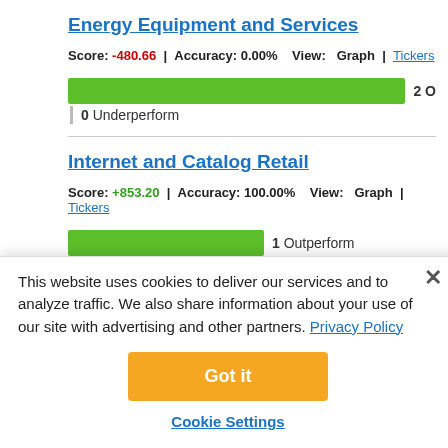Energy Equipment and Services
Score: -480.66 | Accuracy: 0.00%  View:  Graph | Tickers
[Figure (infographic): Green progress bar nearly full width with '2 O' label cut off, and '0 Underperform' label below]
Internet and Catalog Retail
Score: +853.20 | Accuracy: 100.00%  View:  Graph | Tickers
[Figure (infographic): Green bar about half width with '1 Outperform' label and '0 Underperform' below]
Pharmaceuticals
Score: +107.41 | Accuracy: 100.00%  View:  Graph | Tickers
This website uses cookies to deliver our services and to analyze traffic. We also share information about your use of our site with advertising and other partners. Privacy Policy
Got it
Cookie Settings